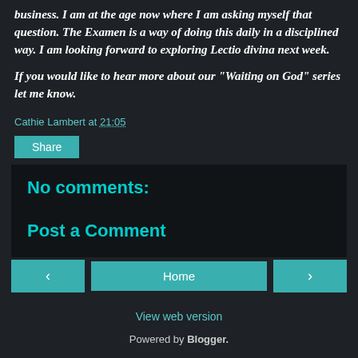business. I am at the age now where I am asking myself that question. The Examen is a way of doing this daily in a disciplined way. I am looking forward to exploring Lectio divina next week.
If you would like to hear more about our "Waiting on God" series let me know.
Cathie Lambert at 21:05
Share
No comments:
Post a Comment
‹ Home › View web version Powered by Blogger.